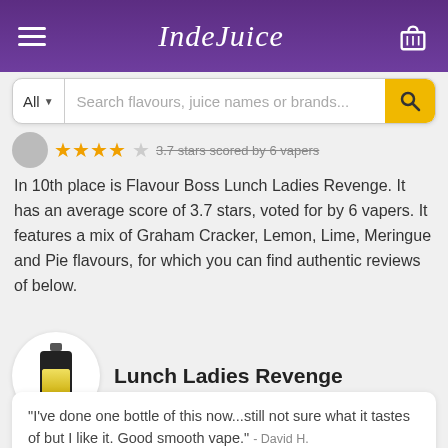IndeJuice
3.7 stars scored by 6 vapers
In 10th place is Flavour Boss Lunch Ladies Revenge. It has an average score of 3.7 stars, voted for by 6 vapers. It features a mix of Graham Cracker, Lemon, Lime, Meringue and Pie flavours, for which you can find authentic reviews of below.
Lunch Ladies Revenge
"I've done one bottle of this now...still not sure what it tastes of but I like it. Good smooth vape." - David H.
"Cakey biscuits sweet and tasty. Not an all day vape for me but a great change to my usuall flavours" -